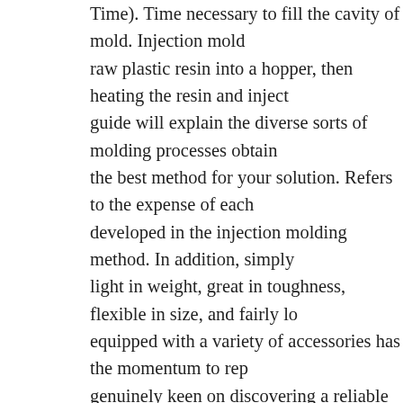Time). Time necessary to fill the cavity of mold. Injection mold raw plastic resin into a hopper, then heating the resin and inject guide will explain the diverse sorts of molding processes obtain the best method for your solution. Refers to the expense of each developed in the injection molding method. In addition, simply light in weight, great in toughness, flexible in size, and fairly lo equipped with a variety of accessories has the momentum to rep genuinely keen on discovering a reliable plastic injection moldi attempt the online source. With the design and style finalized, it molding with a modest pilot run. Learn much more about the vi plastic injected molded components to make certain higher high injection molding really cost effective when the initial tooling h been stabilized. This is also the most cost effective way for obta expense of resin and the approach of manufacturing is significan metal machining and other molding processes. Right now, screw account for 95% of all injection machines. For example, two-sh initial mold a standard shape in a base color of plastic material, various colour, is injected into the remaining open spaces to pro plastic part. Plastic injection molding is a tried-and-correct tech